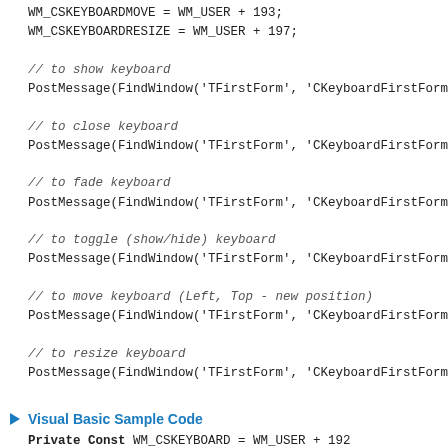WM_CSKEYBOARDMOVE = WM_USER + 193;
WM_CSKEYBOARDRESIZE = WM_USER + 197;
// to show keyboard
PostMessage(FindWindow('TFirstForm', 'CKeyboardFirstForm...
// to close keyboard
PostMessage(FindWindow('TFirstForm', 'CKeyboardFirstForm...
// to fade keyboard
PostMessage(FindWindow('TFirstForm', 'CKeyboardFirstForm...
// to toggle (show/hide) keyboard
PostMessage(FindWindow('TFirstForm', 'CKeyboardFirstForm...
// to move keyboard (Left, Top - new position)
PostMessage(FindWindow('TFirstForm', 'CKeyboardFirstForm...
// to resize keyboard
PostMessage(FindWindow('TFirstForm', 'CKeyboardFirstForm...
Visual Basic Sample Code
Private Const WM_CSKEYBOARD = WM_USER + 192
Private Const WM_CSKEYBOARDMOVE = WM_USER + 193
Private Const WM_CSKEYBOARDRESIZE = WM_USER + 197